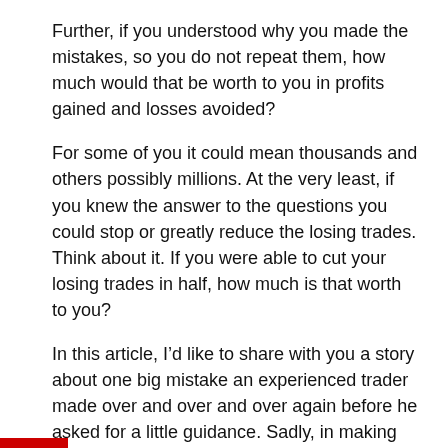Further, if you understood why you made the mistakes, so you do not repeat them, how much would that be worth to you in profits gained and losses avoided?
For some of you it could mean thousands and others possibly millions. At the very least, if you knew the answer to the questions you could stop or greatly reduce the losing trades. Think about it. If you were able to cut your losing trades in half, how much is that worth to you?
In this article, I’d like to share with you a story about one big mistake an experienced trader made over and over and over again before he asked for a little guidance. Sadly, in making this mistake over and over, it cost him millions.